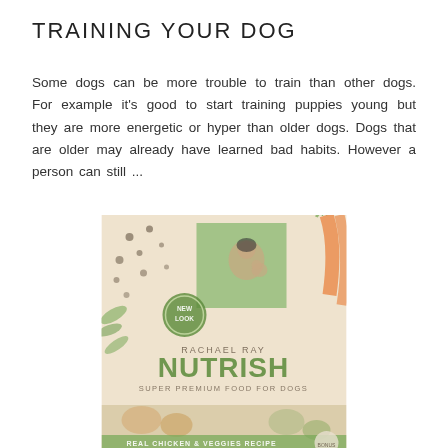TRAINING YOUR DOG
Some dogs can be more trouble to train than other dogs. For example it's good to start training puppies young but they are more energetic or hyper than older dogs. Dogs that are older may already have learned bad habits. However a person can still ...
[Figure (photo): Rachael Ray Nutrish Super Premium Food for Dogs - Real Chicken & Veggies Recipe dog food bag with a 'New Look' badge, showing a woman with a dog on the label, surrounded by vegetables and ingredients]